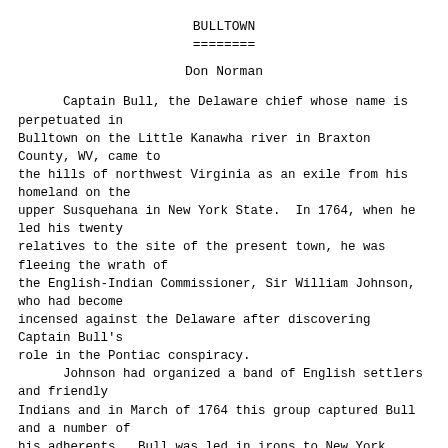BULLTOWN
========
Don Norman
Captain Bull, the Delaware chief whose name is perpetuated in
Bulltown on the Little Kanawha river in Braxton County, WV, came to
the hills of northwest Virginia as an exile from his homeland on the
upper Susquehana in New York State.  In 1764, when he led his twenty
relatives to the site of the present town, he was fleeing the wrath of
the English-Indian Commissioner, Sir William Johnson, who had become
incensed against the Delaware after discovering Captain Bull's
role in the Pontiac conspiracy.
      Johnson had organized a band of English settlers and friendly
Indians and in March of 1764 this group captured Bull and a number of
his adherents.  Bull was led in irons to New York City.  After a short
imprisonment, however, he had been released on his promise to leave
the territory.
      Captain Bull was the son of Teddyuscung, the last...